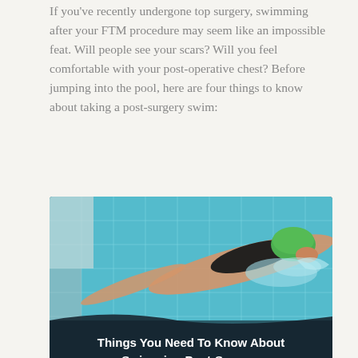If you've recently undergone top surgery, swimming after your FTM procedure may seem like an impossible feat. Will people see your scars? Will you feel comfortable with your post-operative chest? Before jumping into the pool, here are four things to know about taking a post-surgery swim:
[Figure (photo): Overhead view of a swimmer wearing a green swim cap and black swimsuit doing the freestyle stroke in a light blue tiled pool. Text overlay reads: Things You Need To Know About Swimming Post-Surgery]
Wait at least 6-8 weeks: Immediately following your FTM procedure, you will need to take it easy. Your surgeon will give you specific instructions on how to care for your chest and when you